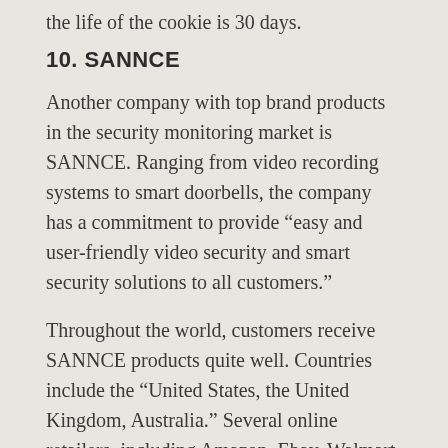the life of the cookie is 30 days.
10. SANNCE
Another company with top brand products in the security monitoring market is SANNCE. Ranging from video recording systems to smart doorbells, the company has a commitment to provide “easy and user-friendly video security and smart security solutions to all customers.”
Throughout the world, customers receive SANNCE products quite well. Countries include the “United States, the United Kingdom, Australia.” Several online retailers, including Amazon, Ebay, Walmart, Newegg among others also carry their products.